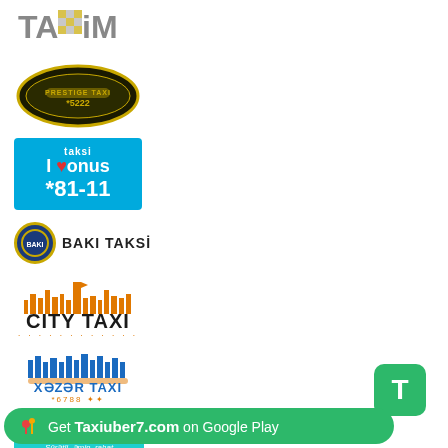[Figure (logo): TAxiM taxi service logo - grey and yellow checkered pattern letters]
[Figure (logo): Prestige Taxi *5222 logo - oval black and gold design]
[Figure (logo): I Bonus Taksi *81-11 logo - blue background with heart and white text]
[Figure (logo): Baki Taksi logo - circular emblem with text]
[Figure (logo): City Taxi logo - orange city skyline above bold black text]
[Figure (logo): Xezar Taxi logo - blue buildings and text with orange accents]
[Figure (logo): Taksifon logo - teal background with yellow and white text]
[Figure (logo): Green T button icon]
Get Taxiuber7.com on Google Play